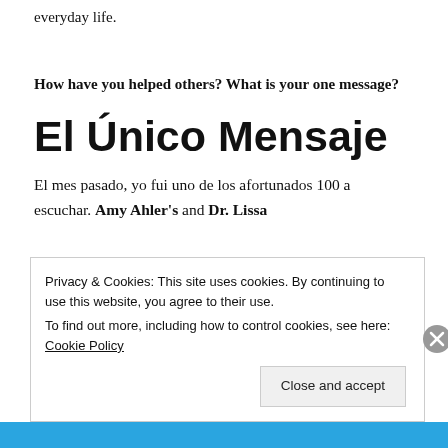everyday life.
How have you helped others? What is your one message?
El Único Mensaje
El mes pasado, yo fui uno de los afortunados 100 a escuchar. Amy Ahler's and Dr. Lissa
Privacy & Cookies: This site uses cookies. By continuing to use this website, you agree to their use.
To find out more, including how to control cookies, see here: Cookie Policy
Close and accept